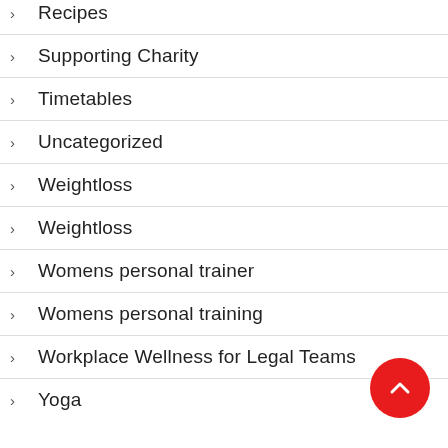Recipes
Supporting Charity
Timetables
Uncategorized
Weightloss
Weightloss
Womens personal trainer
Womens personal training
Workplace Wellness for Legal Teams
Yoga